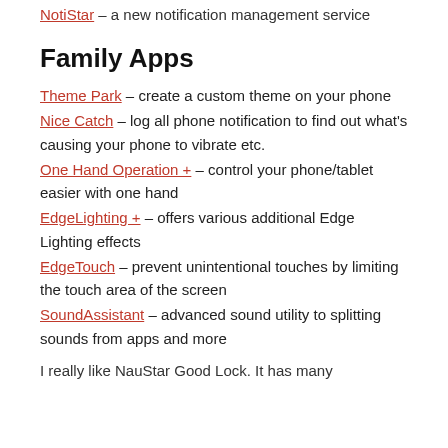NotiStar – a new notification management service
Family Apps
Theme Park – create a custom theme on your phone
Nice Catch – log all phone notification to find out what's causing your phone to vibrate etc.
One Hand Operation + – control your phone/tablet easier with one hand
EdgeLighting + – offers various additional Edge Lighting effects
EdgeTouch – prevent unintentional touches by limiting the touch area of the screen
SoundAssistant – advanced sound utility to splitting sounds from apps and more
I really like NauStar Good Lock. It has many